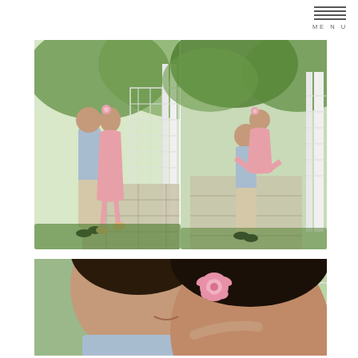[Figure (photo): Navigation menu icon with hamburger lines and MENU text in top right corner]
[Figure (photo): Two outdoor engagement/couple photos side by side: left shows a man and woman in a pink floral dress embracing near a white lattice garden arbor on a stone path; right shows the man lifting the woman while she wraps her legs around him, surrounded by green trees and garden path]
[Figure (photo): Close-up photo of a couple, woman wearing a pink flower in her hair leaning her head against the man's cheek, both smiling, with white lattice trellis visible in background]